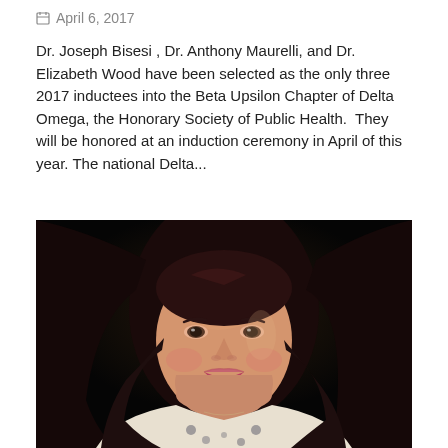April 6, 2017
Dr. Joseph Bisesi , Dr. Anthony Maurelli, and Dr. Elizabeth Wood have been selected as the only three 2017 inductees into the Beta Upsilon Chapter of Delta Omega, the Honorary Society of Public Health.  They will be honored at an induction ceremony in April of this year. The national Delta...
[Figure (photo): Portrait photo of a smiling woman with long dark brown hair, against a dark/black background. She is wearing a patterned top.]